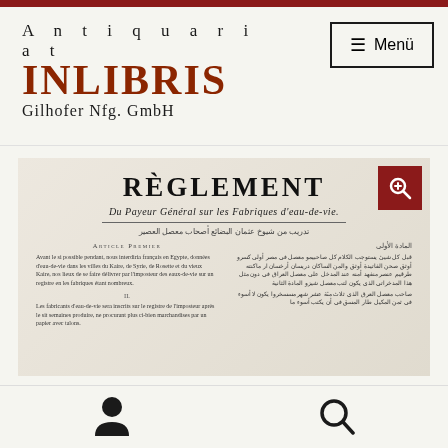[Figure (logo): Antiquariat INLIBRIS Gilhofer Nfg. GmbH logo with red INLIBRIS text]
≡ Menü
[Figure (photo): Photo of an old document titled RÈGLEMENT Du Payeur Général sur les Fabriques d'eau-de-vie, with French and Arabic text in two columns]
[Figure (illustration): Bottom navigation bar with user icon and search icon]